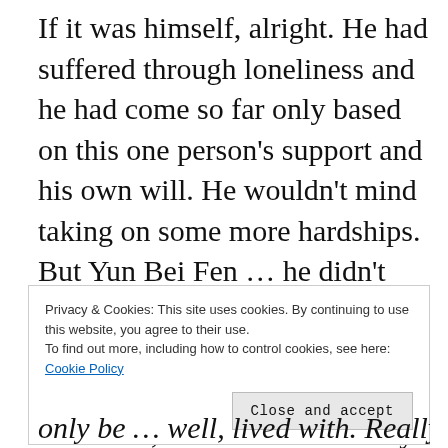If it was himself, alright. He had suffered through loneliness and he had come so far only based on this one person's support and his own will. He wouldn't mind taking on some more hardships. But Yun Bei Fen ... he didn't want him to have to go through something like that. He wanted him to have a good life. And somehow, he felt that an ability would get in the way of that.
Privacy & Cookies: This site uses cookies. By continuing to use this website, you agree to their use.
To find out more, including how to control cookies, see here: Cookie Policy
Close and accept
only be ... well, lived with. Really, he probably